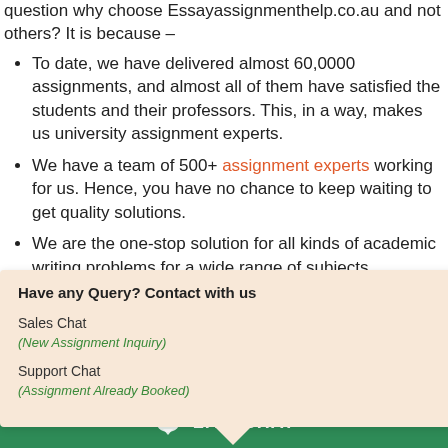question why choose Essayassignmenthelp.co.au and not others? It is because –
To date, we have delivered almost 60,0000 assignments, and almost all of them have satisfied the students and their professors. This, in a way, makes us university assignment experts.
We have a team of 500+ assignment experts working for us. Hence, you have no chance to keep waiting to get quality solutions.
We are the one-stop solution for all kinds of academic writing problems for a wide range of subjects.
Have any Query? Contact with us
Sales Chat
(New Assignment Inquiry)
Support Chat
(Assignment Already Booked)
LIVE CHAT